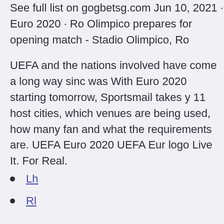See full list on gogbetsg.com Jun 10, 2021 · Euro 2020 · Ro Olimpico prepares for opening match - Stadio Olimpico, Ro
UEFA and the nations involved have come a long way sinc was With Euro 2020 starting tomorrow, Sportsmail takes y 11 host cities, which venues are being used, how many fan and what the requirements are. UEFA Euro 2020 UEFA Eur logo Live It. For Real.
Lh
Rl